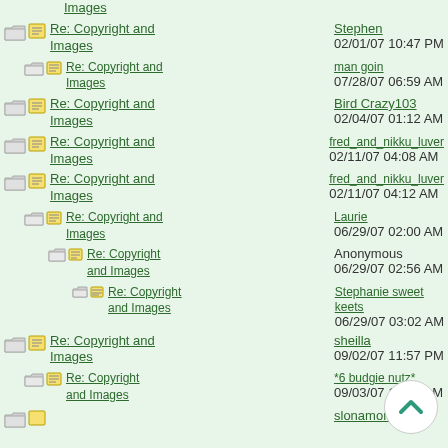Images
Re: Copyright and Images — Stephen — 02/01/07 10:47 PM
Re: Copyright and Images — man goin — 07/28/07 06:59 AM
Re: Copyright and Images — Bird Crazy103 — 02/04/07 01:12 AM
Re: Copyright and Images — fred_and_nikku_luver — 02/11/07 04:08 AM
Re: Copyright and Images — fred_and_nikku_luver — 02/11/07 04:12 AM
Re: Copyright and Images — Laurie — 06/29/07 02:00 AM
Re: Copyright and Images — Anonymous — 06/29/07 02:56 AM
Re: Copyright and Images — Stephanie sweet keets — 06/29/07 03:02 AM
Re: Copyright and Images — sheilla — 09/02/07 11:57 PM
Re: Copyright and Images — *6 budgie nutz* — 09/03/07 12:02 AM
Re: Copyright and Images — slonamomma — (cut off)